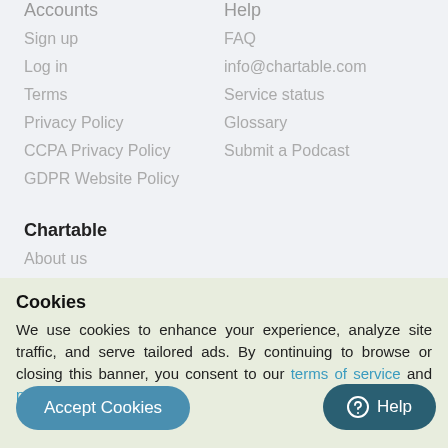Accounts
Sign up
Log in
Terms
Privacy Policy
CCPA Privacy Policy
GDPR Website Policy
Help
FAQ
info@chartable.com
Service status
Glossary
Submit a Podcast
Chartable
About us
The Chartable Blog
Cookies
We use cookies to enhance your experience, analyze site traffic, and serve tailored ads. By continuing to browse or closing this banner, you consent to our terms of service and privacy policy.
Accept Cookies
Help